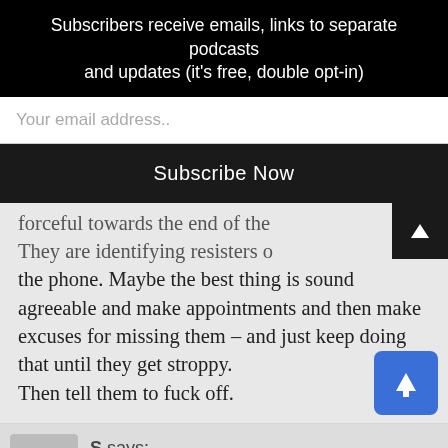Subscribers receive emails, links to separate podcasts and updates (it's free, double opt-in)
Your email address..
Subscribe Now
forceful towards the end of the They are identifying resisters o the phone. Maybe the best thing is sound agreeable and make appointments and then make excuses for missing them – and just keep doing that until they get stroppy.
Then tell them to fuck off.
S says: